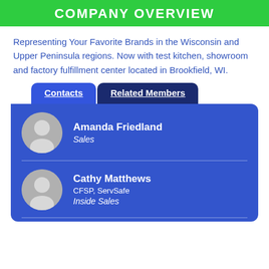COMPANY OVERVIEW
Representing Your Favorite Brands in the Wisconsin and Upper Peninsula regions. Now with test kitchen, showroom and factory fulfillment center located in Brookfield, WI.
Contacts | Related Members
Amanda Friedland
Sales
Cathy Matthews
CFSP, ServSafe
Inside Sales